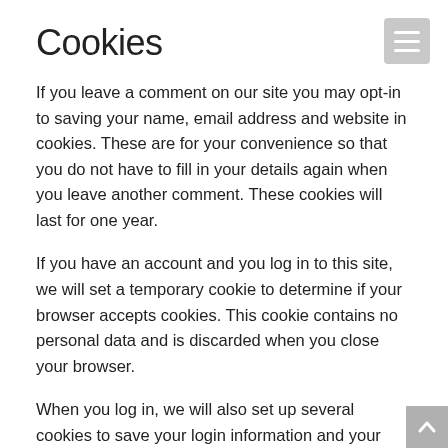Cookies
If you leave a comment on our site you may opt-in to saving your name, email address and website in cookies. These are for your convenience so that you do not have to fill in your details again when you leave another comment. These cookies will last for one year.
If you have an account and you log in to this site, we will set a temporary cookie to determine if your browser accepts cookies. This cookie contains no personal data and is discarded when you close your browser.
When you log in, we will also set up several cookies to save your login information and your screen display choices. Login cookies last for two days, and screen options cookies last for a year. If you select “Remember Me”, your login will persist for two weeks. If you log out of your account, the login cookies will be removed.